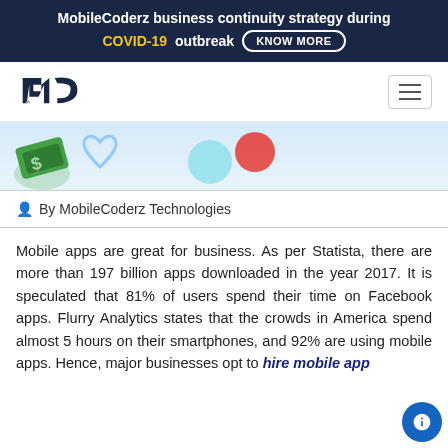MobileCoderz business continuity strategy during COVID-19 outbreak KNOW MORE
[Figure (logo): MobileCoderz MC logo in dark navy blue]
[Figure (illustration): Partial decorative image strip with green money icon, heart icon, red circle element on light blue background]
By MobileCoderz Technologies
Mobile apps are great for business. As per Statista, there are more than 197 billion apps downloaded in the year 2017. It is speculated that 81% of users spend their time on Facebook apps. Flurry Analytics states that the crowds in America spend almost 5 hours on their smartphones, and 92% are using mobile apps. Hence, major businesses opt to hire mobile app